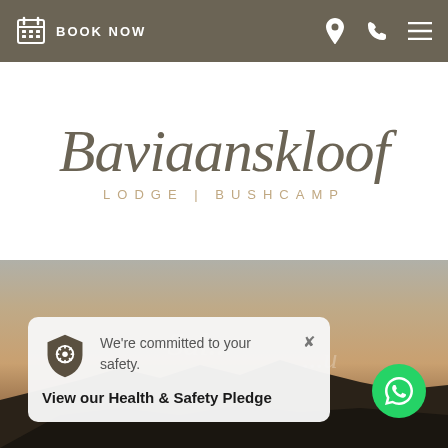BOOK NOW
Baviaanskloof
LODGE | BUSHCAMP
[Figure (photo): Scenic landscape hero image showing mountain silhouette at dusk with warm gradient sky]
We're committed to your safety.
View our Health & Safety Pledge